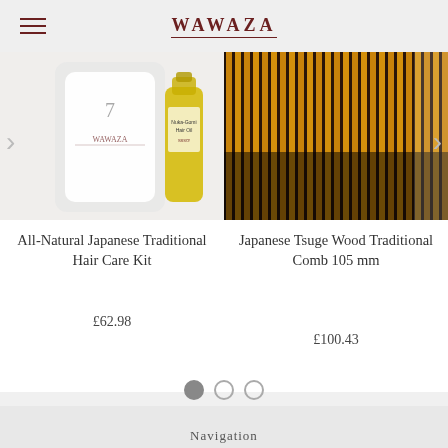WAWAZA
[Figure (photo): All-Natural Japanese Traditional Hair Care Kit product image - white packaging with small bottle of yellow oil]
All-Natural Japanese Traditional Hair Care Kit
£62.98
[Figure (photo): Japanese Tsuge Wood Traditional Comb 105 mm product image - close-up of wooden comb teeth in amber/brown color]
Japanese Tsuge Wood Traditional Comb 105 mm
£100.43
Navigation